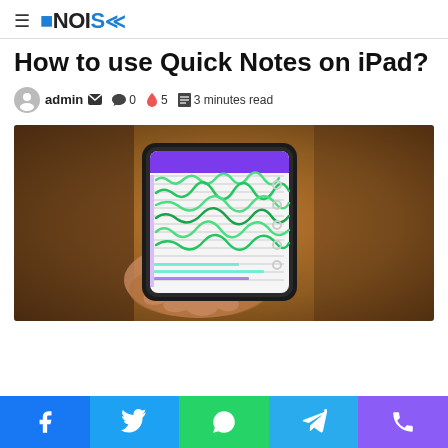≡ NOISE (logo)
How to use Quick Notes on iPad?
admin ✉ 💬 0 🔥 5 📄 3 minutes read
[Figure (photo): A hand holding a smartphone displaying a notes app with green handwritten scribbles on a white/purple interface, against a blurred warm brown background.]
Facebook | Twitter | WhatsApp | Telegram | Phone social share bar